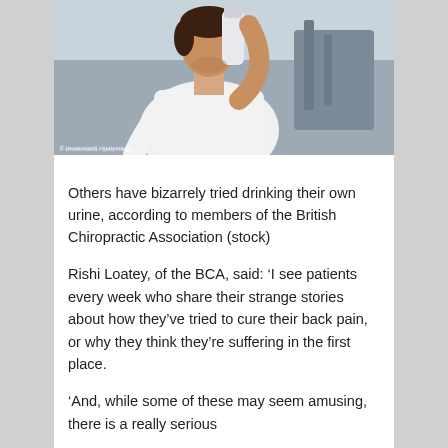[Figure (photo): A man in a white t-shirt drinking from a white sports bottle, photographed in a gym setting. Stock photo with watermark.]
Others have bizarrely tried drinking their own urine, according to members of the British Chiropractic Association (stock)
Rishi Loatey, of the BCA, said: ‘I see patients every week who share their strange stories about how they’ve tried to cure their back pain, or why they think they’re suffering in the first place.
‘And, while some of these may seem amusing, there is a really serious